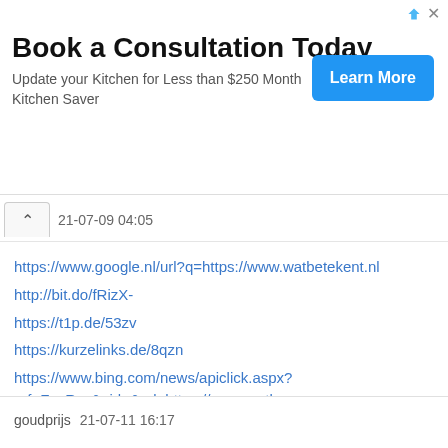[Figure (screenshot): Advertisement banner: Book a Consultation Today - Update your Kitchen for Less than $250 Month Kitchen Saver, with a blue Learn More button]
21-07-09 04:05
https://www.google.nl/url?q=https://www.watbetekent.nl
http://bit.do/fRizX-
https://t1p.de/53zv
https://kurzelinks.de/8qzn
https://www.bing.com/news/apiclick.aspx?ref=FexRss&aid=&url=https://www.watbe 46132&mkt=de-de
http://bit.do/fRiz6-
https://is.gd/57kvjc-
https://0cn.de/l2xy
https://kurzelinks.de/7iy7
https://s.id/CrLoA
goudprijs  21-07-11 16:17
https://www.mydigoo.com/forums-topicdetail-298819.html
http://bit.do/fRi...